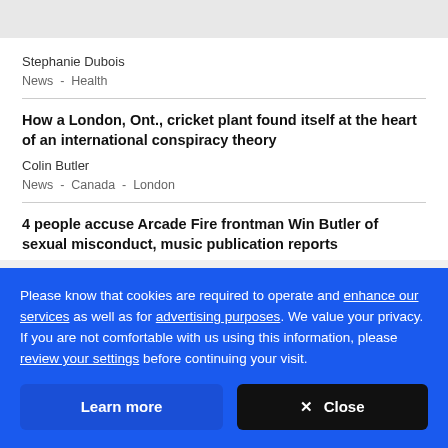[partial article title cut off at top]
Stephanie Dubois
News  -  Health
How a London, Ont., cricket plant found itself at the heart of an international conspiracy theory
Colin Butler
News  -  Canada  -  London
4 people accuse Arcade Fire frontman Win Butler of sexual misconduct, music publication reports
Please know that cookies are required to operate and enhance our services as well as for advertising purposes. We value your privacy. If you are not comfortable with us using this information, please review your settings before continuing your visit.